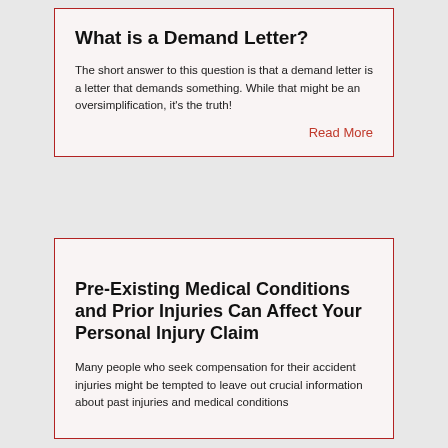What is a Demand Letter?
The short answer to this question is that a demand letter is a letter that demands something. While that might be an oversimplification, it’s the truth!
Read More
Pre-Existing Medical Conditions and Prior Injuries Can Affect Your Personal Injury Claim
Many people who seek compensation for their accident injuries might be tempted to leave out crucial information about past injuries and medical conditions